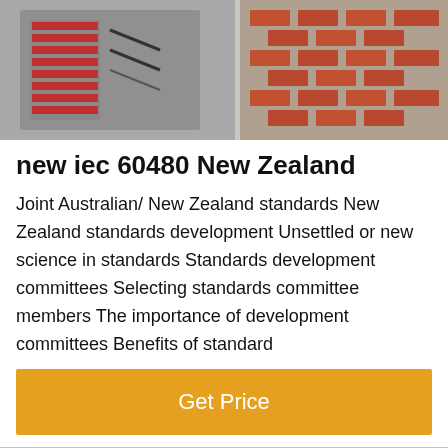[Figure (photo): Photo of electrical switchboard/panel with red components and brick wall background]
new iec 60480 New Zealand
Joint Australian/ New Zealand standards New Zealand standards development Unsettled or new science in standards Standards development committees Selecting standards committee members The importance of development committees Benefits of standard
[Figure (other): Orange button with white text 'Get Price']
[Figure (photo): Photo of electrical transmission towers/pylons with dark overlay bar at bottom showing 'Leave Message' and 'Chat Online' with a customer service agent avatar in the center]
Leave Message   Chat Online